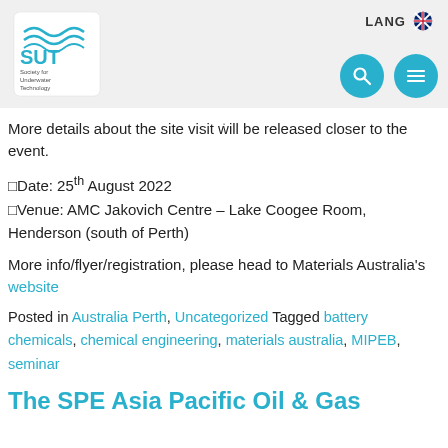[Figure (logo): SUT Society for Underwater Technology logo with teal waves and text]
More details about the site visit will be released closer to the event.
Date: 25th August 2022
Venue: AMC Jakovich Centre – Lake Coogee Room, Henderson (south of Perth)
More info/flyer/registration, please head to Materials Australia's website
Posted in Australia Perth, Uncategorized Tagged battery chemicals, chemical engineering, materials australia, MIPEB, seminar
The SPE Asia Pacific Oil & Gas